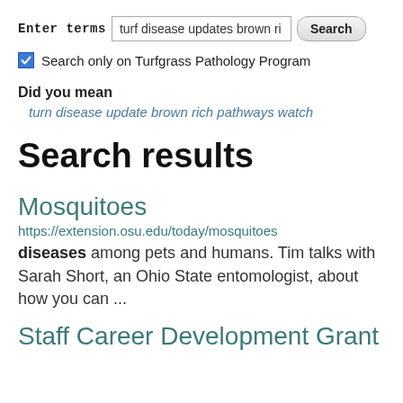Enter terms  turf disease updates brown ri  Search
Search only on Turfgrass Pathology Program
Did you mean
turn disease update brown rich pathways watch
Search results
Mosquitoes
https://extension.osu.edu/today/mosquitoes
diseases among pets and humans. Tim talks with Sarah Short, an Ohio State entomologist, about how you can ...
Staff Career Development Grant